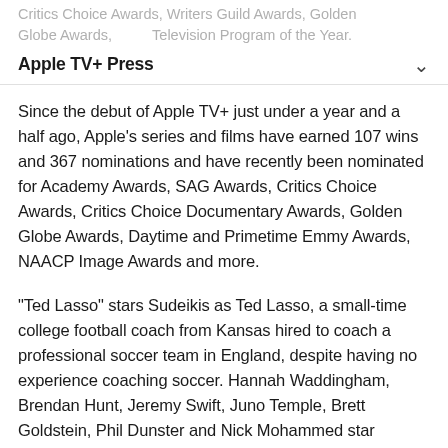Critics Choice Awards, Writers Guild Awards, Golden Globe Awards, Television Program of the Year.
Apple TV+ Press
Since the debut of Apple TV+ just under a year and a half ago, Apple's series and films have earned 107 wins and 367 nominations and have recently been nominated for Academy Awards, SAG Awards, Critics Choice Awards, Critics Choice Documentary Awards, Golden Globe Awards, Daytime and Primetime Emmy Awards, NAACP Image Awards and more.
“Ted Lasso” stars Sudeikis as Ted Lasso, a small-time college football coach from Kansas hired to coach a professional soccer team in England, despite having no experience coaching soccer. Hannah Waddingham, Brendan Hunt, Jeremy Swift, Juno Temple, Brett Goldstein, Phil Dunster and Nick Mohammed star alongside Sudeikis in the